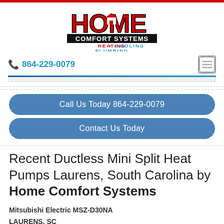[Figure (logo): Home Comfort Systems logo with HOME in large letters, a house icon inside the O, COMFORT SYSTEMS in a black bar, and HEATING • COOLING / PLUMBING in red and blue text]
864-229-0079
Call Us Today 864-229-0079
Contact Us Today
Recent Ductless Mini Split Heat Pumps Laurens, South Carolina by Home Comfort Systems
Mitsubishi Electric MSZ-D30NA
LAURENS, SC
12-27-2016